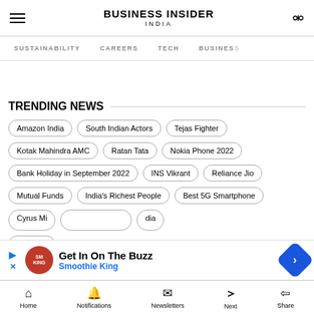BUSINESS INSIDER INDIA
SUSTAINABILITY  CAREERS  TECH  BUSINESS
TRENDING NEWS
Amazon India
South Indian Actors
Tejas Fighter
Kotak Mahindra AMC
Ratan Tata
Nokia Phone 2022
Bank Holiday in September 2022
INS Vikrant
Reliance Jio
Mutual Funds
India's Richest People
Best 5G Smartphone
Cyrus Mi...
...dia
Top 10 A...
Get In On The Buzz
Smoothie King
Home  Notifications  Newsletters  Next  Share